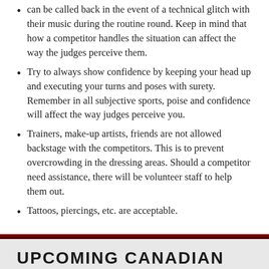can be called back in the event of a technical glitch with their music during the routine round. Keep in mind that how a competitor handles the situation can affect the way the judges perceive them.
Try to always show confidence by keeping your head up and executing your turns and poses with surety. Remember in all subjective sports, poise and confidence will affect the way judges perceive you.
Trainers, make-up artists, friends are not allowed backstage with the competitors. This is to prevent overcrowding in the dressing areas. Should a competitor need assistance, there will be volunteer staff to help them out.
Tattoos, piercings, etc. are acceptable.
UPCOMING CANADIAN EVENTS